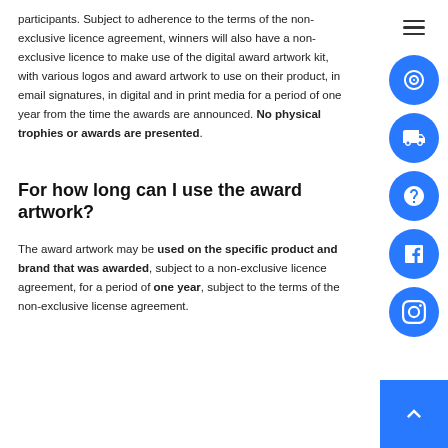participants. Subject to adherence to the terms of the non-exclusive licence agreement, winners will also have a non-exclusive licence to make use of the digital award artwork kit, with various logos and award artwork to use on their product, in email signatures, in digital and in print media for a period of one year from the time the awards are announced. No physical trophies or awards are presented.
For how long can I use the award artwork?
The award artwork may be used on the specific product and brand that was awarded, subject to a non-exclusive licence agreement, for a period of one year, subject to the terms of the non-exclusive license agreement.